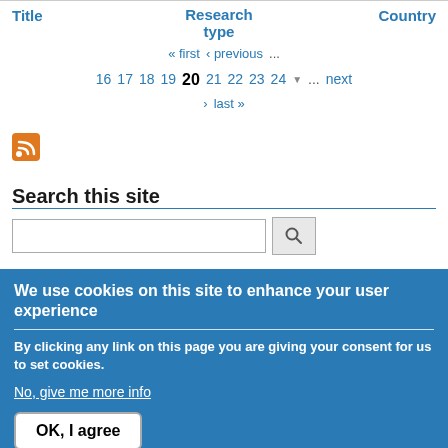| Title | Research type | Country |
| --- | --- | --- |
« first ‹ previous … 16 17 18 19 20 21 22 23 24 … next › last »
[Figure (other): RSS feed icon (orange square with white signal waves)]
Search this site
We use cookies on this site to enhance your user experience
By clicking any link on this page you are giving your consent for us to set cookies.
No, give me more info
OK, I agree